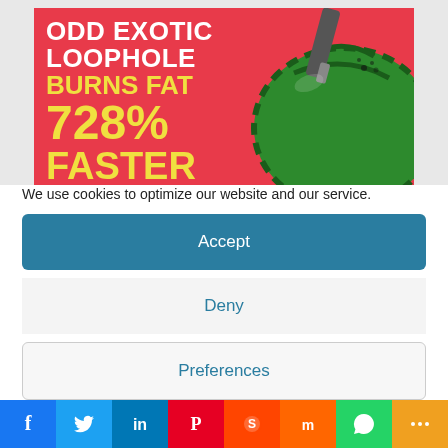[Figure (illustration): Advertisement banner with red/pink background showing a watermelon and text: ODD EXOTIC LOOPHOLE BURNS FAT 728% FASTER]
We use cookies to optimize our website and our service.
Accept
Deny
Preferences
[Figure (infographic): Social media share bar with icons for Facebook, Twitter, LinkedIn, Pinterest, Reddit, Mix, WhatsApp, and More]